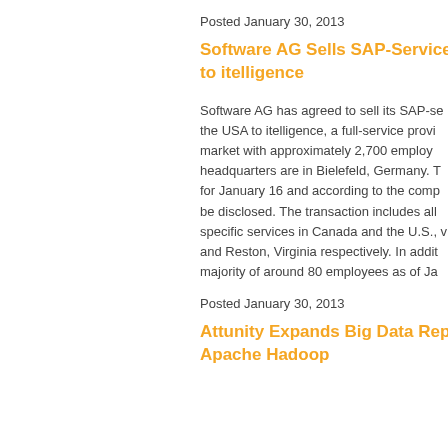Posted January 30, 2013
Software AG Sells SAP-Service Op... to itelligence
Software AG has agreed to sell its SAP-se... the USA to itelligence, a full-service provi... market with approximately 2,700 employ... headquarters are in Bielefeld, Germany. T... for January 16 and according to the comp... be disclosed. The transaction includes all... specific services in Canada and the U.S., ... and Reston, Virginia respectively. In addit... majority of around 80 employees as of Ja...
Posted January 30, 2013
Attunity Expands Big Data Replica... Apache Hadoop